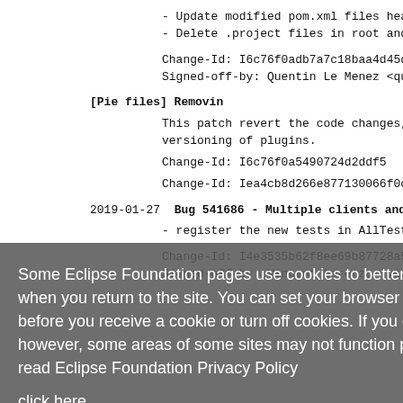- Update modified pom.xml files header
- Delete .project files in root and r
Change-Id: I6c76f0adb7a7c18baa4d45d78a
Signed-off-by: Quentin Le Menez <quent
[Pie files] Removin
This patch revert the code changes, bu
versioning of plugins.
Change-Id: I6c76f0a5490724d2ddf5
Change-Id: Iea4cb8d266e877130066f0c981
2019-01-27  Bug 541686 - Multiple clients and supp
- register the new tests in AllTests.c
Change-Id: I4e3535b62f8ee69b87728a5edc
Signed-off-by: Vincent Lorenzo <vince
Some Eclipse Foundation pages use cookies to better serve you when you return to the site. You can set your browser to notify you before you receive a cookie or turn off cookies. If you do so, however, some areas of some sites may not function properly. To read Eclipse Foundation Privacy Policy
click here.